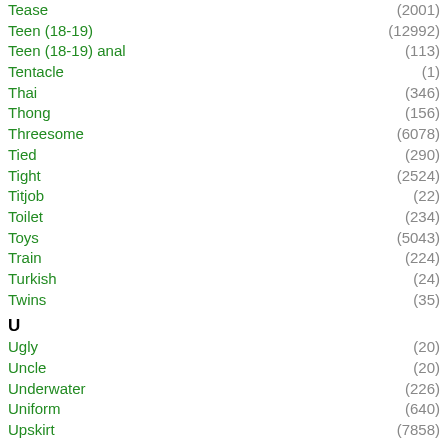Tease (2001)
Teen (18-19) (12992)
Teen (18-19) anal (113)
Tentacle (1)
Thai (346)
Thong (156)
Threesome (6078)
Tied (290)
Tight (2524)
Titjob (22)
Toilet (234)
Toys (5043)
Train (224)
Turkish (24)
Twins (35)
U
Ugly (20)
Uncle (20)
Underwater (226)
Uniform (640)
Upskirt (7858)
V